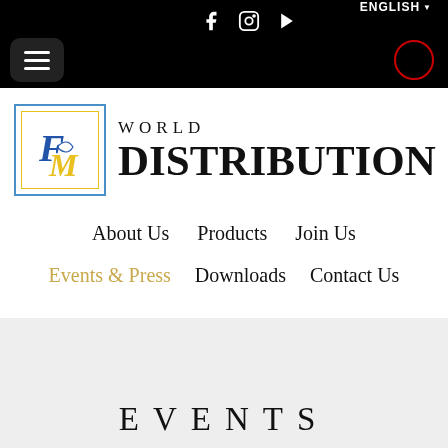Facebook Instagram YouTube | ENGLISH
[Figure (logo): FM World Distribution logo: blue and yellow bordered box with FM letters, next to WORLD DISTRIBUTION text]
About Us
Products
Join Us
Events & Press
Downloads
Contact Us
EVENTS